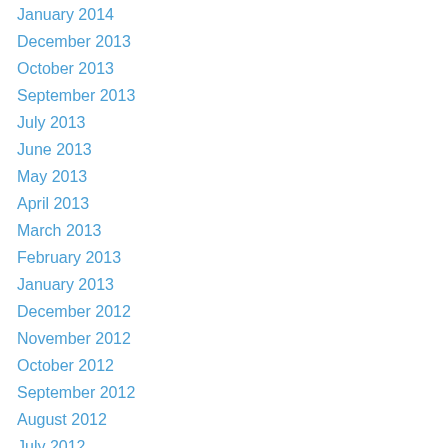January 2014
December 2013
October 2013
September 2013
July 2013
June 2013
May 2013
April 2013
March 2013
February 2013
January 2013
December 2012
November 2012
October 2012
September 2012
August 2012
July 2012
June 2012
May 2012
April 2012